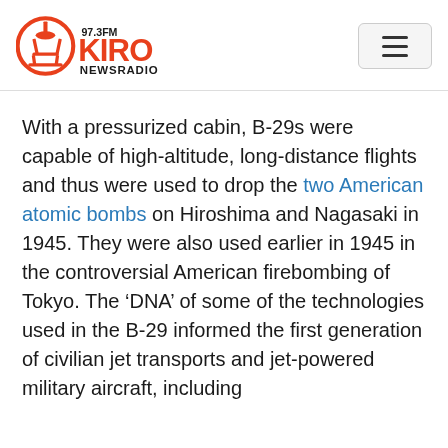97.3FM KIRO NEWSRADIO
With a pressurized cabin, B-29s were capable of high-altitude, long-distance flights and thus were used to drop the two American atomic bombs on Hiroshima and Nagasaki in 1945. They were also used earlier in 1945 in the controversial American firebombing of Tokyo. The ‘DNA’ of some of the technologies used in the B-29 informed the first generation of civilian jet transports and jet-powered military aircraft, including